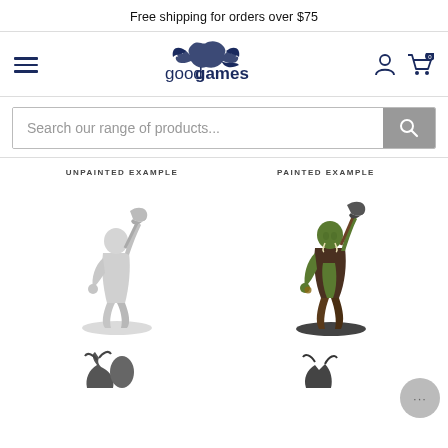Free shipping for orders over $75
[Figure (logo): Good Games logo with dragon mascot in navy blue]
Search our range of products...
UNPAINTED EXAMPLE
PAINTED EXAMPLE
[Figure (photo): Unpainted grey miniature figure of an orc/warrior holding a double-headed axe aloft]
[Figure (photo): Painted miniature figure of a green-skinned orc holding a double-headed axe, with dark clothing]
[Figure (photo): Partial view of additional miniature figures at the bottom of the page]